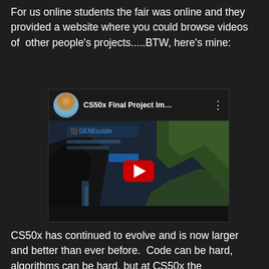For us online students the fair was online and they provided a website where you could browse videos of other people's projects.....BTW, here's mine:
[Figure (screenshot): YouTube video thumbnail showing 'CS50x Final Project Im...' with a circular avatar of a person, a landscape background with cliffs and waterfall, and a red play button in the center.]
CS50x has continued to evolve and is now larger and better than ever before.  Code can be hard, algorithms can be hard, but at CS50x the encouragement is 100%.  I met people online taking the course with me from Pakistan